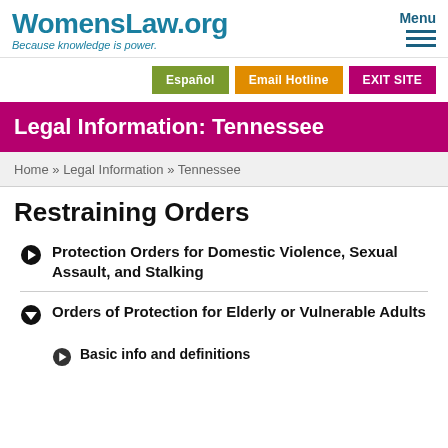WomensLaw.org — Because knowledge is power. | Menu
Legal Information: Tennessee
Home » Legal Information » Tennessee
Restraining Orders
Protection Orders for Domestic Violence, Sexual Assault, and Stalking
Orders of Protection for Elderly or Vulnerable Adults
Basic info and definitions